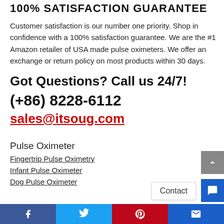100% SATISFACTION GUARANTEE
Customer satisfaction is our number one priority. Shop in confidence with a 100% satisfaction guarantee. We are the #1 Amazon retailer of USA made pulse oximeters. We offer an exchange or return policy on most products within 30 days.
Got Questions? Call us 24/7!
(+86) 8228-6112
sales@itsoug.com
Pulse Oximeter
Fingertrip Pulse Oximetry
Infant Pulse Oximeter
Dog Pulse Oximeter
Facebook | Twitter | Pinterest | Email